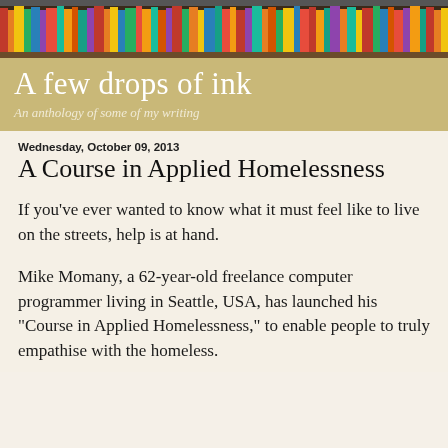[Figure (photo): Colorful books on a bookshelf, serving as a decorative header image for a blog]
A few drops of ink
An anthology of some of my writing
Wednesday, October 09, 2013
A Course in Applied Homelessness
If you’ve ever wanted to know what it must feel like to live on the streets, help is at hand.
Mike Momany, a 62-year-old freelance computer programmer living in Seattle, USA, has launched his “Course in Applied Homelessness,” to enable people to truly empathise with the homeless.